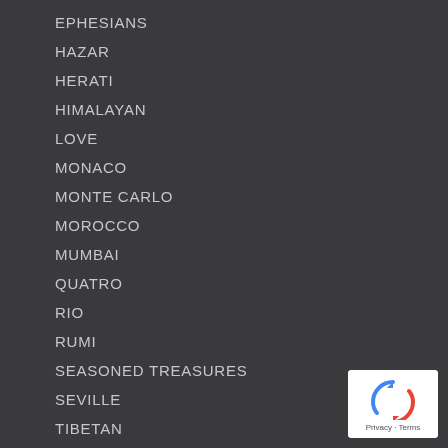EPHESIANS
HAZAR
HERATI
HIMALAYAN
LOVE
MONACO
MONTE CARLO
MOROCCO
MUMBAI
QUATRO
RIO
RUMI
SEASONED TREASURES
SEVILLE
TIBETAN